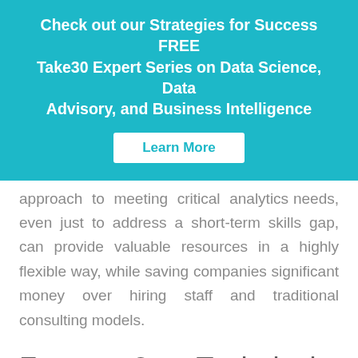[Figure (infographic): Teal/cyan banner with bold white text: 'Check out our Strategies for Success FREE Take30 Expert Series on Data Science, Data Advisory, and Business Intelligence' and a white 'Learn More' button.]
approach to meeting critical analytics needs, even just to address a short-term skills gap, can provide valuable resources in a highly flexible way, while saving companies significant money over hiring staff and traditional consulting models.
Factor 2: Technical Expertise